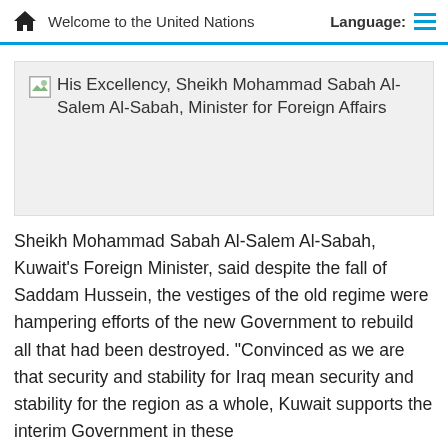Welcome to the United Nations  Language:
[Figure (photo): Broken image placeholder for His Excellency, Sheikh Mohammad Sabah Al-Salem Al-Sabah, Minister for Foreign Affairs]
His Excellency, Sheikh Mohammad Sabah Al-Salem Al-Sabah, Minister for Foreign Affairs
Sheikh Mohammad Sabah Al-Salem Al-Sabah, Kuwait's Foreign Minister, said despite the fall of Saddam Hussein, the vestiges of the old regime were hampering efforts of the new Government to rebuild all that had been destroyed. "Convinced as we are that security and stability for Iraq mean security and stability for the region as a whole, Kuwait supports the interim Government in these